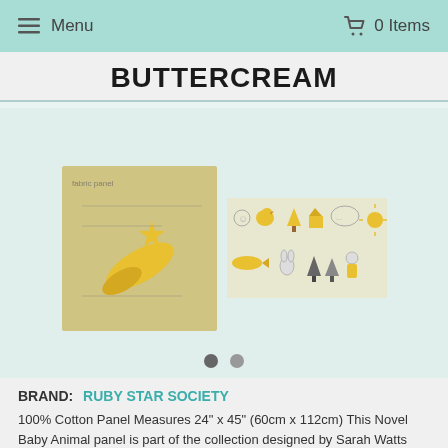☰ Menu   🛒 0 Items
BUTTERCREAM
[Figure (photo): Two product images showing a fabric panel with yellow animals and star patterns (Novel Baby Animal panel by Ruby Star Society). Left image shows fabric folded/rolled. Right image shows a flat layout of the illustrated animal characters in yellow and grey.]
BRAND:  RUBY STAR SOCIETY
100% Cotton Panel Measures 24" x 45" (60cm x 112cm) This Novel Baby Animal panel is part of the collection designed by Sarah Watts inspired by her love of birthdays. It can be cut...